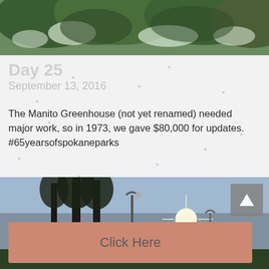[Figure (photo): Top photo strip showing dense green foliage and flowering bushes at a park greenhouse]
Day 25
September 13, 2016
The Manito Greenhouse (not yet renamed) needed major work, so in 1973, we gave $80,000 for updates. #65yearsofspokaneparks
Click Here
[Figure (photo): Bottom photo strip showing a park scene with tall trees silhouetted against bright sunlight, lamp posts, and a playground area]